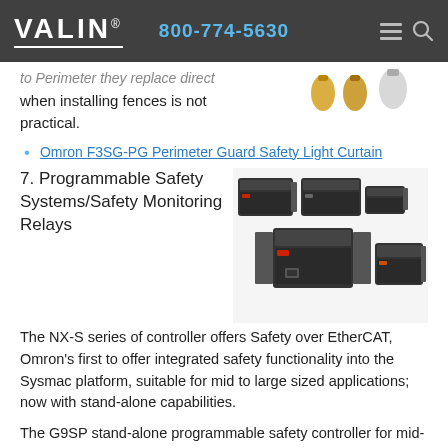VALIN® | 800-774-5630
to Perimeter they replace direct when installing fences is not practical.
Omron F3SG-PG Perimeter Guard Safety Light Curtain
7. Programmable Safety Systems/Safety Monitoring Relays
[Figure (photo): NX-S series safety controller modules - multiple black industrial PLC units of various sizes arranged together]
The NX-S series of controller offers Safety over EtherCAT, Omron's first to offer integrated safety functionality into the Sysmac platform, suitable for mid to large sized applications; now with stand-alone capabilities.
The G9SP stand-alone programmable safety controller for mid-sized applications supports direct connection to safety mats and